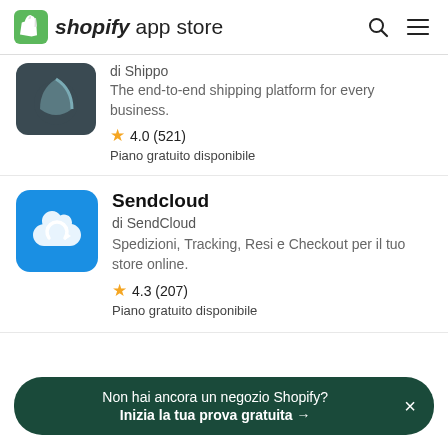shopify app store
[Figure (screenshot): Shippo app listing (partial): di Shippo, The end-to-end shipping platform for every business. Rating: 4.0 (521). Piano gratuito disponibile.]
[Figure (screenshot): Sendcloud app listing: Sendcloud, di SendCloud, Spedizioni, Tracking, Resi e Checkout per il tuo store online. Rating: 4.3 (207). Piano gratuito disponibile.]
Non hai ancora un negozio Shopify? Inizia la tua prova gratuita →